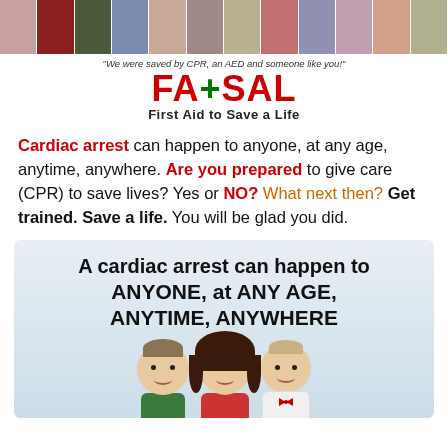[Figure (photo): Strip of people photos at top of page saved by CPR and AED]
"We were saved by CPR, an AED and someone like you!"
[Figure (logo): FA+SAL logo - First Aid to Save a Life]
Cardiac arrest can happen to anyone, at any age, anytime, anywhere. Are you prepared to give care (CPR) to save lives? Yes or NO? What next then? Get trained. Save a life. You will be glad you did.
[Figure (infographic): Infographic showing cartoon figures of boy, girl, and doctor with text: A cardiac arrest can happen to ANYONE, at ANY AGE, ANYTIME, ANYWHERE]